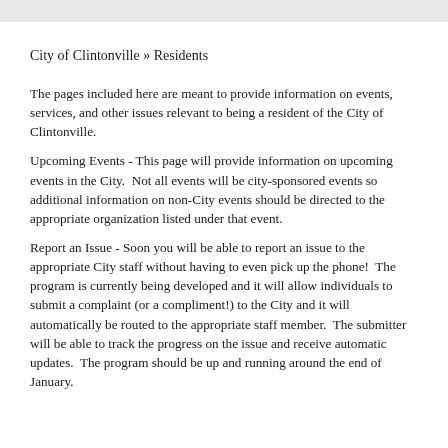City of Clintonville » Residents
The pages included here are meant to provide information on events, services, and other issues relevant to being a resident of the City of Clintonville.
Upcoming Events - This page will provide information on upcoming events in the City.  Not all events will be city-sponsored events so additional information on non-City events should be directed to the appropriate organization listed under that event.
Report an Issue - Soon you will be able to report an issue to the appropriate City staff without having to even pick up the phone!  The program is currently being developed and it will allow individuals to submit a complaint (or a compliment!) to the City and it will automatically be routed to the appropriate staff member.  The submitter will be able to track the progress on the issue and receive automatic updates.  The program should be up and running around the end of January.